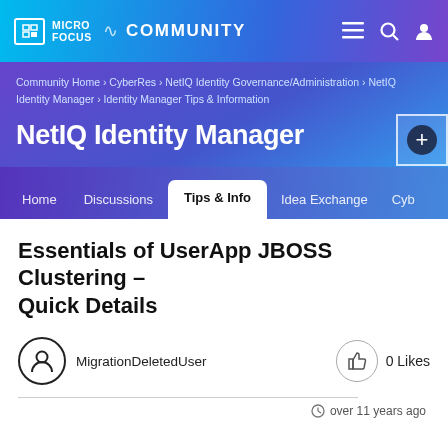MICRO FOCUS COMMUNITY
Community Home › CyberRes › NetIQ Identity Governance/Administration › NetIQ Identity Manager › Identity Manager Tips & Information
NetIQ Identity Manager
Home   Discussions   Tips & Info   Idea Exchange   Cyb…
Essentials of UserApp JBOSS Clustering – Quick Details
MigrationDeletedUser
0 Likes
over 11 years ago